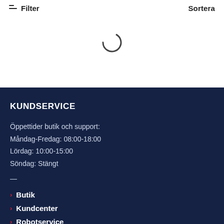Filter   Sortera
[Figure (other): Loading spinner icon (partial circle arc) indicating content is loading]
KUNDSERVICE
Öppettider butik och support:
Måndag-Fredag: 08:00-18:00
Lördag: 10:00-15:00
Söndag: Stängt
—
Butik
Kundcenter
Robotservice
Boka tid i verkstad